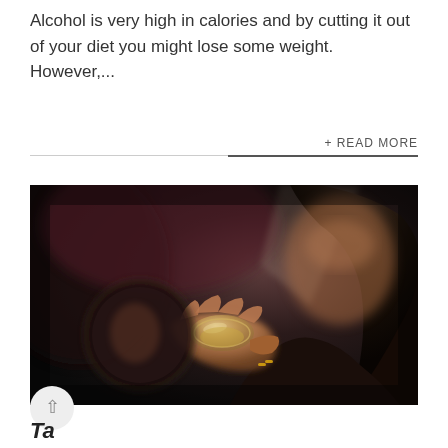Alcohol is very high in calories and by cutting it out of your diet you might lose some weight. However,...
+ READ MORE
[Figure (photo): A person holding a small glass bowl up to their face, appearing to smell or look at it, photographed in a dark, moody setting.]
Tag